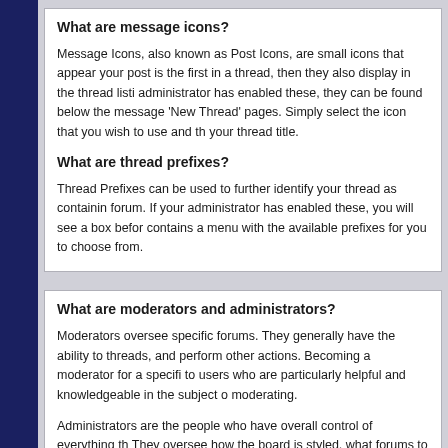What are message icons?
Message Icons, also known as Post Icons, are small icons that appear your post is the first in a thread, then they also display in the thread listi administrator has enabled these, they can be found below the message 'New Thread' pages. Simply select the icon that you wish to use and th your thread title.
What are thread prefixes?
Thread Prefixes can be used to further identify your thread as containin forum. If your administrator has enabled these, you will see a box befor contains a menu with the available prefixes for you to choose from.
What are moderators and administrators?
Moderators oversee specific forums. They generally have the ability to threads, and perform other actions. Becoming a moderator for a specifi to users who are particularly helpful and knowledgeable in the subject o moderating.
Administrators are the people who have overall control of everything th They oversee how the board is styled, what forums to create and how t information to require from members and who to appoint as moderators